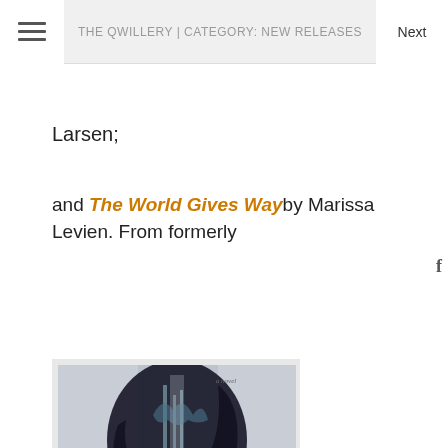THE QWILLERY | CATEGORY: NEW RELEASES
Larsen;
and The World Gives Way by Marissa Levien. From formerly
[Figure (photo): Book cover for 'Shutter' showing a silhouette of a woman's head with dark hair, trees and a barn visible through the silhouette. Text reads 'a novel', 'She landed the role of a lifetime... What will she do to keep it?' and the title 'SHUTTER' at the bottom in yellow letters.]